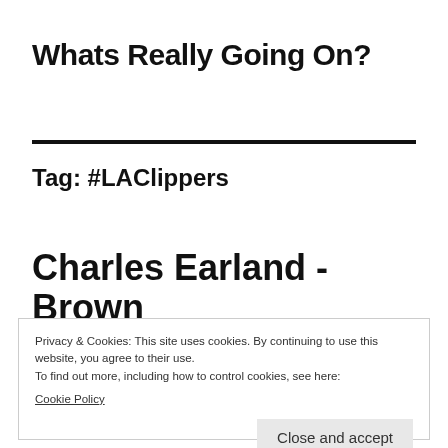Whats Really Going On?
Tag: #LAClippers
Charles Earland -Brown
Privacy & Cookies: This site uses cookies. By continuing to use this website, you agree to their use.
To find out more, including how to control cookies, see here:
Cookie Policy
Close and accept